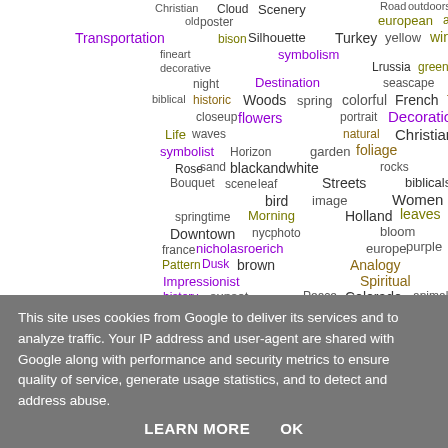[Figure (infographic): A colorful word cloud containing photography and art related tags such as Cloud, Scenery, Transportation, Turkey, symbolism, Destination, Woods, flowers, Christianity, garden, blackandwhite, biblicalscene, architecture, jeremyself, Reflections, leaves, Landmark, petitgenre, symbolic, Waterfall, etc. Words appear in various colors including green, purple, olive, dark olive, black, orange/brown, and standard text colors at various font sizes.]
This site uses cookies from Google to deliver its services and to analyze traffic. Your IP address and user-agent are shared with Google along with performance and security metrics to ensure quality of service, generate usage statistics, and to detect and address abuse.
LEARN MORE   OK